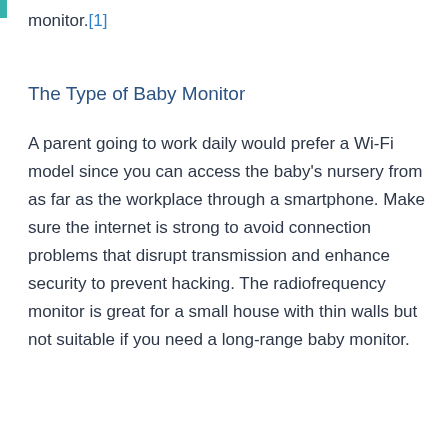monitor.[1]
The Type of Baby Monitor
A parent going to work daily would prefer a Wi-Fi model since you can access the baby's nursery from as far as the workplace through a smartphone. Make sure the internet is strong to avoid connection problems that disrupt transmission and enhance security to prevent hacking. The radiofrequency monitor is great for a small house with thin walls but not suitable if you need a long-range baby monitor.